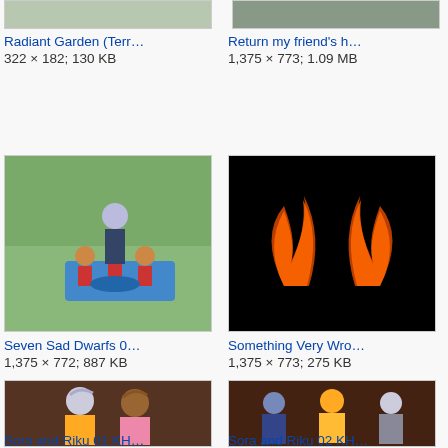[Figure (screenshot): Partial thumbnail of Radiant Garden (Terra) game screenshot, cut off at top]
[Figure (screenshot): Partial thumbnail of Return my friend's h... game screenshot, cut off at top]
Radiant Garden (Terr...
322 × 182; 130 KB
Return my friend's h...
1,375 × 773; 1.09 MB
[Figure (screenshot): Seven Sad Dwarfs - game screenshot showing characters around a table with a figure standing]
[Figure (screenshot): Something Very Wrong - dark background with orange/red bat wing or flame shapes]
Seven Sad Dwarfs 0...
1,375 × 772; 887 KB
Something Very Wro...
1,375 × 773; 275 KB
[Figure (screenshot): Sora and Riku 01 KH... - game screenshot showing two anime characters facing viewer]
[Figure (screenshot): Sora and Riku 02 KH... - game screenshot showing multiple anime characters]
Sora and Riku 01 KH...
Sora and Riku 02 KH...